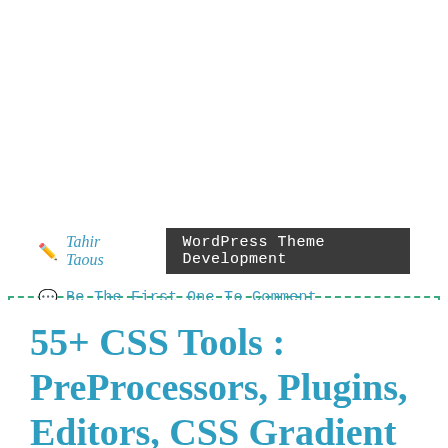Tahir Taous
WordPress Theme Development
Be The First One To Comment
55+ CSS Tools : PreProcessors, Plugins, Editors, CSS Gradient Generator And More